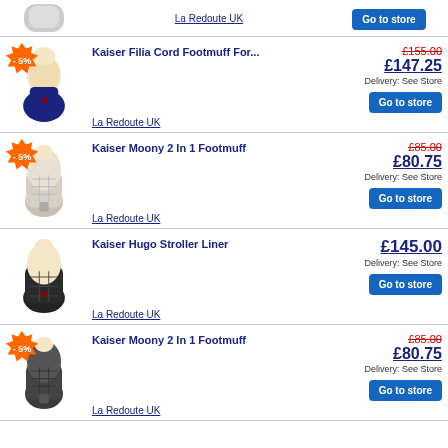[Figure (photo): Partial product row at top showing footmuff product image (grey/cream)]
La Redoute UK
Go to store
- 5%
Kaiser Filia Cord Footmuff For...
£155.00
£147.25
Delivery: See Store
Go to store
La Redoute UK
- 5%
Kaiser Moony 2 In 1 Footmuff
£85.00
£80.75
Delivery: See Store
Go to store
La Redoute UK
Kaiser Hugo Stroller Liner
£145.00
Delivery: See Store
Go to store
La Redoute UK
- 5%
Kaiser Moony 2 In 1 Footmuff
£85.00
£80.75
Delivery: See Store
Go to store
La Redoute UK